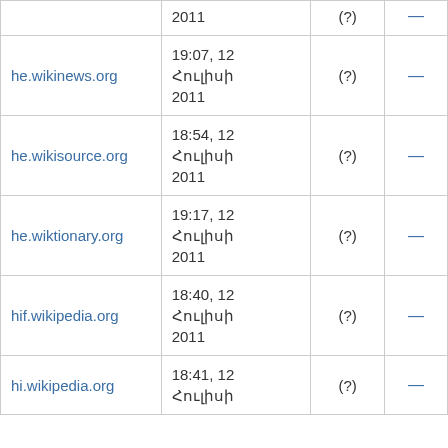| Site | Date | (?) | — |
| --- | --- | --- | --- |
|  | ...
2011 | (?) | — |
| he.wikinews.org | 19:07, 12 Հուլիսի 2011 | (?) | — |
| he.wikisource.org | 18:54, 12 Հուլիսի 2011 | (?) | — |
| he.wiktionary.org | 19:17, 12 Հուլիսի 2011 | (?) | — |
| hif.wikipedia.org | 18:40, 12 Հուլիսի 2011 | (?) | — |
| hi.wikipedia.org | 18:41, 12 Հուլիսի 2011... | (?) | — |